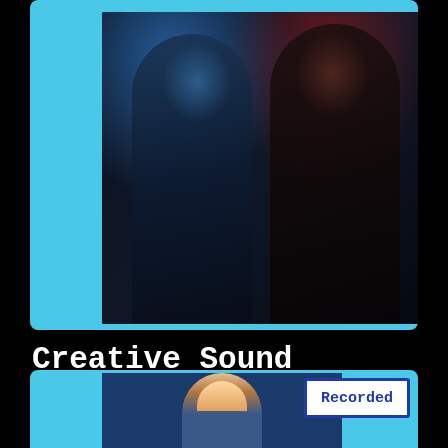[Figure (photo): Two men posed back to back against a dark background with dramatic blue and red lighting — promotional photo for Joluca (Rawsome Deep, Whoyostro, Cacao) creative sound design course. Image shown in a light-blue framed card.]
Creative Sound Design with Joluca
Rawsome Deep, Whoyostro, Cacao
Learn More
[Figure (photo): Partial bottom card with a person's photo and a 'Recorded' badge in blue-bordered white box, light-blue background.]